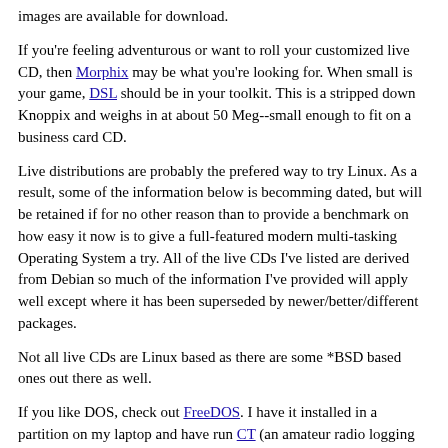images are available for download.
If you're feeling adventurous or want to roll your customized live CD, then Morphix may be what you're looking for. When small is your game, DSL should be in your toolkit. This is a stripped down Knoppix and weighs in at about 50 Meg--small enough to fit on a business card CD.
Live distributions are probably the prefered way to try Linux. As a result, some of the information below is becomming dated, but will be retained if for no other reason than to provide a benchmark on how easy it now is to give a full-featured modern multi-tasking Operating System a try. All of the live CDs I've listed are derived from Debian so much of the information I've provided will apply well except where it has been superseded by newer/better/different packages.
Not all live CDs are Linux based as there are some *BSD based ones out there as well.
If you like DOS, check out FreeDOS. I have it installed in a partition on my laptop and have run CT (an amateur radio logging program) and some other ham radio software without a problem.